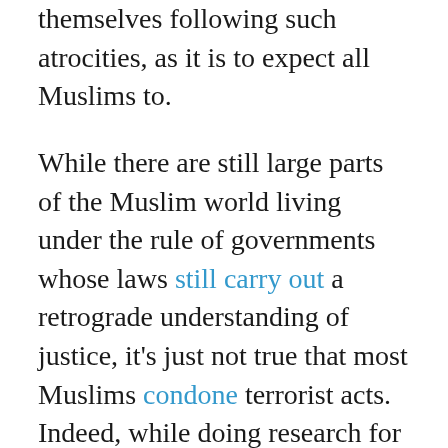themselves following such atrocities, as it is to expect all Muslims to.

While there are still large parts of the Muslim world living under the rule of governments whose laws still carry out a retrograde understanding of justice, it's just not true that most Muslims condone terrorist acts. Indeed, while doing research for this piece, I had a far harder time finding Muslim leaders who justify any kind of violence, even physical punishment for 'apostates' and criminals, than those that do. Outside of the rantings of pundits, who jump on the relatively rare examples of communities where a significant demographic believe violence is justified, it's just not the case that Islam necessitates violence any more than Christianity does. Both revere holy books rife with passages promoting violence, but few Muslims and Christians are guided more by those passages than the